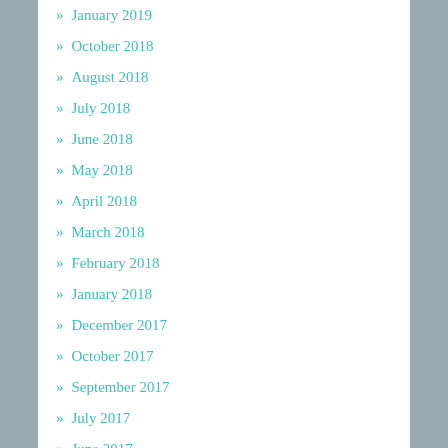January 2019
October 2018
August 2018
July 2018
June 2018
May 2018
April 2018
March 2018
February 2018
January 2018
December 2017
October 2017
September 2017
July 2017
June 2017
May 2017